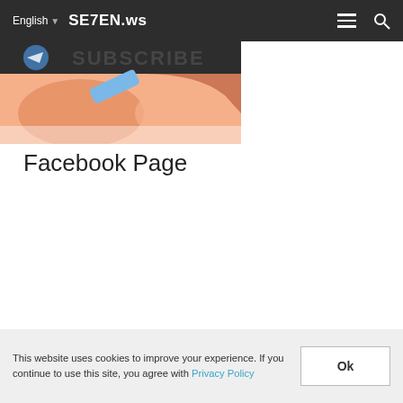English ▾  SE7EN.ws
[Figure (illustration): Partial view of an anime/cartoon illustration showing a character, cropped. The top shows text 'SUBSCRIBE' partially visible. The image is roughly 268x114px.]
Facebook Page
This website uses cookies to improve your experience. If you continue to use this site, you agree with Privacy Policy